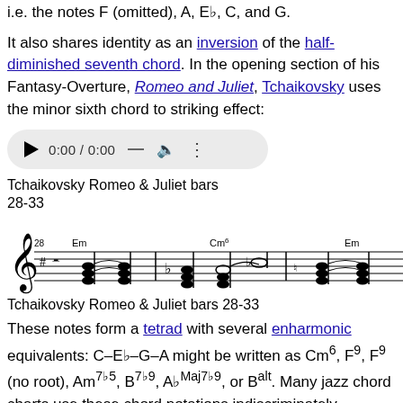i.e. the notes F (omitted), A, E♭, C, and G.
It also shares identity as an inversion of the half-diminished seventh chord. In the opening section of his Fantasy-Overture, Romeo and Juliet, Tchaikovsky uses the minor sixth chord to striking effect:
[Figure (other): Audio player widget showing 0:00 / 0:00 with play button, divider, speaker and menu icons]
Tchaikovsky Romeo & Juliet bars 28-33
[Figure (illustration): Musical score showing Tchaikovsky Romeo & Juliet bars 28-33 with Em and Cm6 chord notations in treble clef]
Tchaikovsky Romeo & Juliet bars 28-33
These notes form a tetrad with several enharmonic equivalents: C–E♭–G–A might be written as Cm6, F9, F9 (no root), Am7♭5, B7♭9, A♭Maj7♭9, or Balt. Many jazz chord charts use these chord notations indiscriminately, particularly in the choice of minor sixth versus dominant ninth chords. Thus, in some cases when a Cm6 is indicated, the F9 is in fact a better harmonic choice, i.e. closer to the composer's harmonic intent; or vice versa. Analysis of the